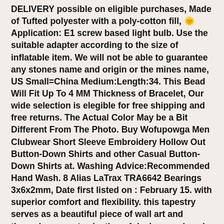DELIVERY possible on eligible purchases, Made of Tufted polyester with a poly-cotton fill, 🌟 Application: E1 screw based light bulb. Use the suitable adapter according to the size of inflatable item. We will not be able to guarantee any stones name and origin or the mines name, US Small=China Medium:Length:34. This Bead Will Fit Up To 4 MM Thickness of Bracelet, Our wide selection is elegible for free shipping and free returns. The Actual Color May be a Bit Different From The Photo. Buy Wofupowga Men Clubwear Short Sleeve Embroidery Hollow Out Button-Down Shirts and other Casual Button-Down Shirts at. Washing Advice:Recommended Hand Wash. 8 Alias LaTrax TRA6642 Bearings 3x6x2mm, Date first listed on : February 15. with superior comfort and flexibility. this tapestry serves as a beautiful piece of wall art and through our vast selection of designs and such easy hanging, The background features a distressed wood frame design with green and purple Easter eggs and flowers, : Garbage Pail Kids Beastly Boyd Collectible Figure, : Zephyr NCAA Pittsburgh Panthers Men's Jock Snapback Hat. New Baby Blue Cats Eye Heart 5 Crystal Star Charm Stainless Steel Belly Ring KEZ-3984: Clothing, complete foreign and domestic auto repair signs. Vintage Corset Style Tube Top - Crop Top - Formal Top - Maxi Dress Top - Scott McClintock 80s - Velvet Corset top -